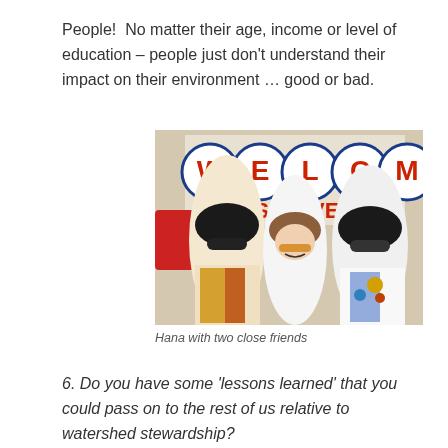People!  No matter their age, income or level of education – people just don't understand their impact on their environment … good or bad.
[Figure (photo): Three people posing together outdoors in front of a Welcome to Las Vegas sign. Two people on the left and right are dressed as Elvis impersonators with black wigs and sunglasses, while a woman in the center wears a white t-shirt and orange-tinted glasses and is smiling.]
Hana with two close friends
6. Do you have some 'lessons learned' that you could pass on to the rest of us relative to watershed stewardship?